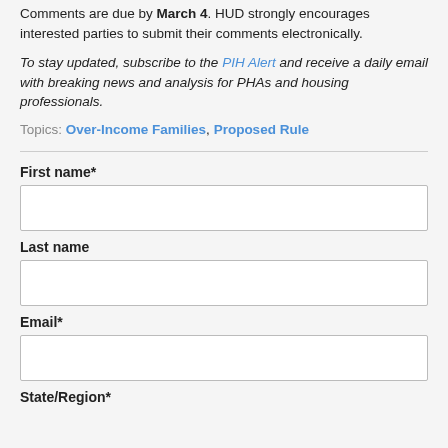Comments are due by March 4. HUD strongly encourages interested parties to submit their comments electronically.
To stay updated, subscribe to the PIH Alert and receive a daily email with breaking news and analysis for PHAs and housing professionals.
Topics: Over-Income Families, Proposed Rule
First name*
Last name
Email*
State/Region*